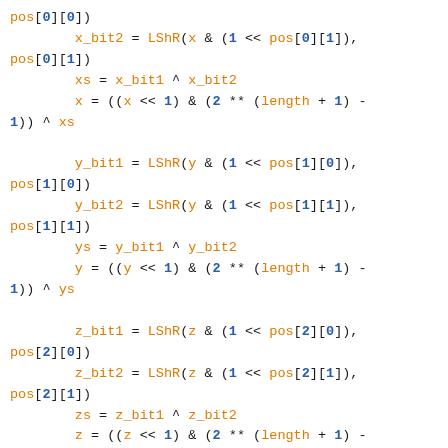Code block showing bit manipulation operations in a programming language with orange variables/functions and blue numeric literals.